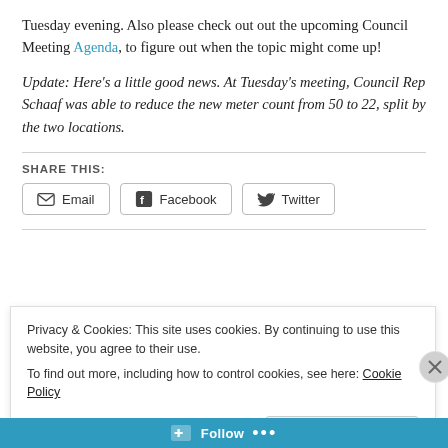Tuesday evening.  Also please check out out the upcoming Council Meeting Agenda, to figure out when the topic might come up!
Update:  Here’s a little good news.  At Tuesday’s meeting, Council Rep Schaaf was able to reduce the new meter count from 50 to 22, split by the two locations.
SHARE THIS:
Email  Facebook  Twitter
Privacy & Cookies: This site uses cookies. By continuing to use this website, you agree to their use.
To find out more, including how to control cookies, see here: Cookie Policy
Close and accept
Follow ...